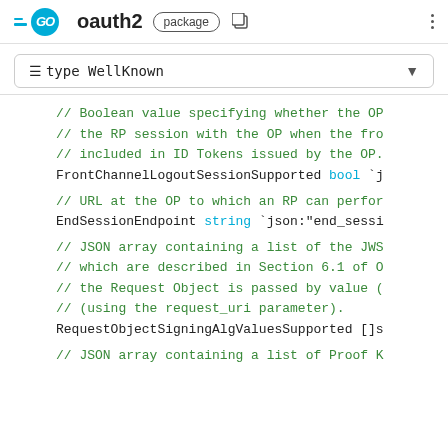GO oauth2 package
≡ type WellKnown
// Boolean value specifying whether the OP
// the RP session with the OP when the fro
// included in ID Tokens issued by the OP.
FrontChannelLogoutSessionSupported bool `j

// URL at the OP to which an RP can perfor
EndSessionEndpoint string `json:"end_sessi

// JSON array containing a list of the JWS
// which are described in Section 6.1 of O
// the Request Object is passed by value (
// (using the request_uri parameter).
RequestObjectSigningAlgValuesSupported []s

// JSON array containing a list of Proof K